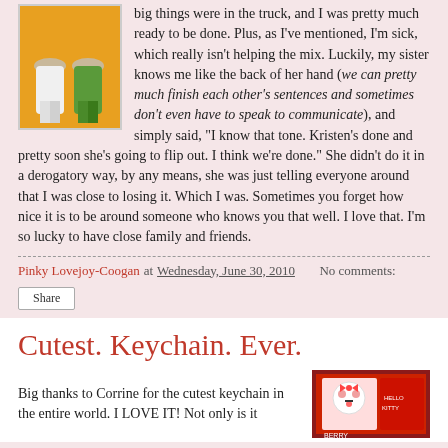[Figure (illustration): Cartoon illustration of two figures on a yellow/orange background, shown from waist down]
big things were in the truck, and I was pretty much ready to be done. Plus, as I've mentioned, I'm sick, which really isn't helping the mix. Luckily, my sister knows me like the back of her hand (we can pretty much finish each other's sentences and sometimes don't even have to speak to communicate), and simply said, "I know that tone. Kristen's done and pretty soon she's going to flip out. I think we're done." She didn't do it in a derogatory way, by any means, she was just telling everyone around that I was close to losing it. Which I was. Sometimes you forget how nice it is to be around someone who knows you that well. I love that. I'm so lucky to have close family and friends.
Pinky Lovejoy-Coogan at Wednesday, June 30, 2010   No comments:
Share
Cutest. Keychain. Ever.
Big thanks to Corrine for the cutest keychain in the entire world. I LOVE IT! Not only is it
[Figure (photo): Photo of a Hello Kitty keychain product in packaging]